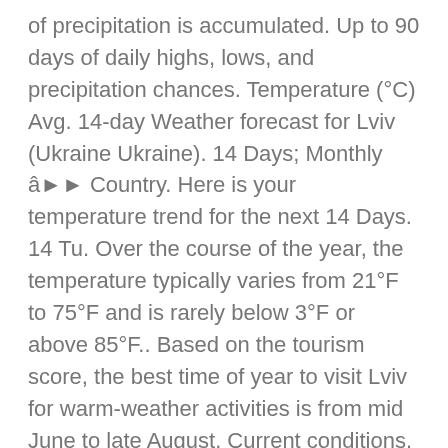of precipitation is accumulated. Up to 90 days of daily highs, lows, and precipitation chances. Temperature (°C) Avg. 14-day Weather forecast for Lviv (Ukraine Ukraine). 14 Days; Monthly â Country. Here is your temperature trend for the next 14 Days. 14 Tu. Over the course of the year, the temperature typically varies from 21°F to 75°F and is rarely below 3°F or above 85°F.. Based on the tourism score, the best time of year to visit Lviv for warm-weather activities is from mid June to late August. Current conditions. Get the monthly weather forecast for Lviv, L'viv, Ukraine, including daily high/low, historical averages, to help you plan ahead. Ukraine; Lviv Oblast; Weather in Yonychi; Weather in Yonychi for 14 days. Throughout the year, in Lviv, there are 158 rainfall days, and 748mm (29.4") of precipitation is